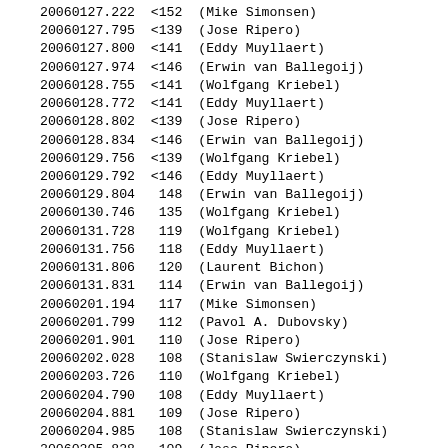20060127.222  <152  (Mike Simonsen)
20060127.795  <139  (Jose Ripero)
20060127.800  <141  (Eddy Muyllaert)
20060127.974  <146  (Erwin van Ballegoij)
20060128.755  <141  (Wolfgang Kriebel)
20060128.772  <141  (Eddy Muyllaert)
20060128.802  <139  (Jose Ripero)
20060128.834  <146  (Erwin van Ballegoij)
20060129.756  <139  (Wolfgang Kriebel)
20060129.792  <146  (Eddy Muyllaert)
20060129.804   148  (Erwin van Ballegoij)
20060130.746   135  (Wolfgang Kriebel)
20060131.728   119  (Wolfgang Kriebel)
20060131.756   118  (Eddy Muyllaert)
20060131.806   120  (Laurent Bichon)
20060131.831   114  (Erwin van Ballegoij)
20060201.194   117  (Mike Simonsen)
20060201.799   112  (Pavol A. Dubovsky)
20060201.901   110  (Jose Ripero)
20060202.028   108  (Stanislaw Swierczynski)
20060203.726   110  (Wolfgang Kriebel)
20060204.790   108  (Eddy Muyllaert)
20060204.881   109  (Jose Ripero)
20060204.985   108  (Stanislaw Swierczynski)
20060205.828   109  (Jose Ripero)
20060206.958   112  (Jose Ripero)
20060207.437   107  (Kenji Hirosawa)
20060207.938   114  (Jose Ripero)
20060208.758   110  (Eddy Muyllaert)
20060208.985   110  (Gary Poyner)
20060209.989  <141  (Erwin van Ballegoij)